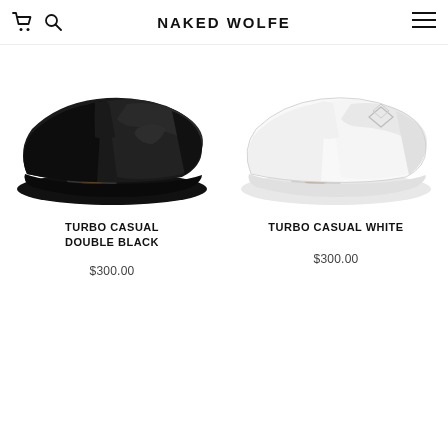NAKED WOLFE
[Figure (photo): Black chunky sneaker - Turbo Casual Double Black with air cushion sole]
TURBO CASUAL DOUBLE BLACK
$300.00
[Figure (photo): White chunky sneaker - Turbo Casual White with air cushion sole and geometric logo]
TURBO CASUAL WHITE
$300.00